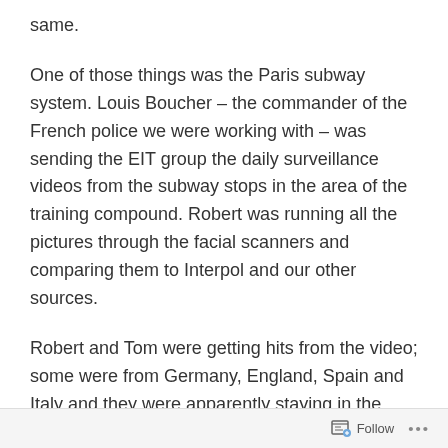same.
One of those things was the Paris subway system. Louis Boucher – the commander of the French police we were working with – was sending the EIT group the daily surveillance videos from the subway stops in the area of the training compound. Robert was running all the pictures through the facial scanners and comparing them to Interpol and our other sources.
Robert and Tom were getting hits from the video; some were from Germany, England, Spain and Italy and they were apparently staying in the training compound. They were seen getting on and off the subway stop by the training center.
Follow ...